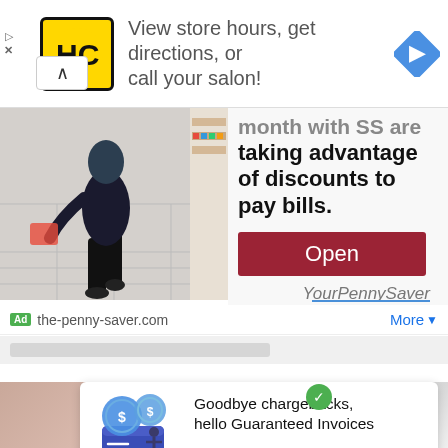[Figure (photo): Ad banner: HC logo (yellow square with HC letters), text 'View store hours, get directions, or call your salon!' with blue navigation diamond arrow icon on right]
[Figure (photo): Advertisement showing person walking in store/supermarket aisle from behind, wearing black clothing and sneakers]
month with SS are taking advantage of discounts to pay bills.
[Figure (other): Red button labeled 'Open']
YourPennySaver
Ad  the-penny-saver.com
More ▼
[Figure (photo): Blurred partial view of a finger/hand on pinkish background, bottom section]
[Figure (illustration): InstoBank ad illustration: person standing next to large coin/dollar symbols and credit card]
Goodbye chargebacks, hello Guaranteed Invoices
InstoBank
Try for free